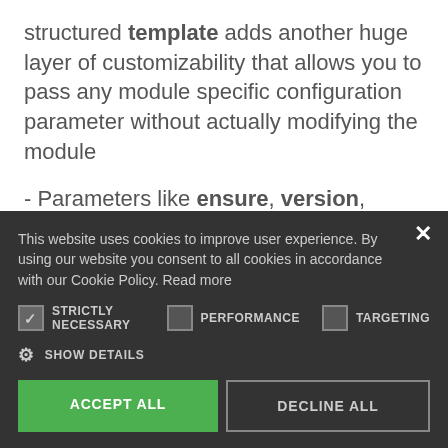structured **template** adds another huge layer of customizability that allows you to pass any module specific configuration parameter without actually modifying the module
- Parameters like **ensure**, **version**, **status** and **autorestart** allows you to manage partial application or also removal of
This website uses cookies to improve user experience. By using our website you consent to all cookies in accordance with our Cookie Policy. Read more
STRICTLY NECESSARY | PERFORMANCE | TARGETING
SHOW DETAILS
ACCEPT ALL
DECLINE ALL